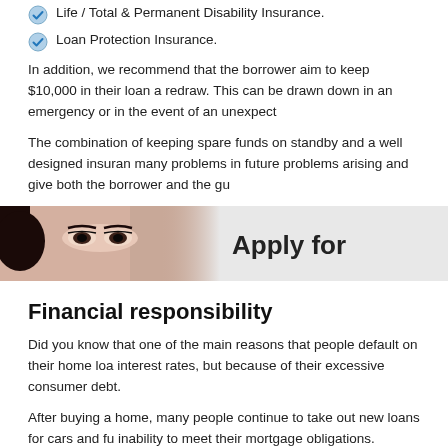Life / Total & Permanent Disability Insurance.
Loan Protection Insurance.
In addition, we recommend that the borrower aim to keep $10,000 in their loan a redraw. This can be drawn down in an emergency or in the event of an unexpect
The combination of keeping spare funds on standby and a well designed insuran many problems in future problems arising and give both the borrower and the gu
[Figure (photo): A banner image showing a close-up of a woman's eyes on the left and the text 'Apply for' on a light grey background on the right.]
Financial responsibility
Did you know that one of the main reasons that people default on their home loa interest rates, but because of their excessive consumer debt.
After buying a home, many people continue to take out new loans for cars and fu inability to meet their mortgage obligations.